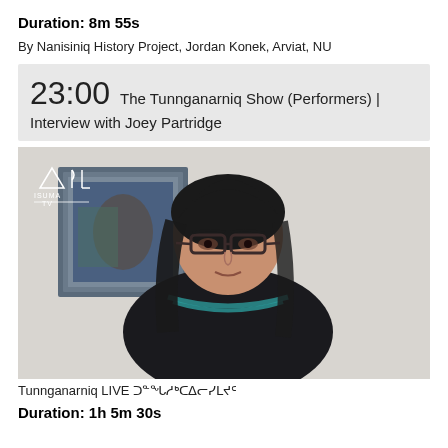Duration: 8m 55s
By Nanisiniq History Project, Jordan Konek, Arviat, NU
23:00 The Tunnganarniq Show (Performers) | Interview with Joey Partridge
[Figure (photo): Video still showing a woman with dark hair and glasses wearing a black top with teal neckline detail, sitting in front of a framed picture on the wall. The Isuma TV logo appears in the top left corner.]
Tunnganarniq LIVE ᑐᓐᖓᓱᒃᑕᐃᓕᓯᒪᔪᑦ
Duration: 1h 5m 30s